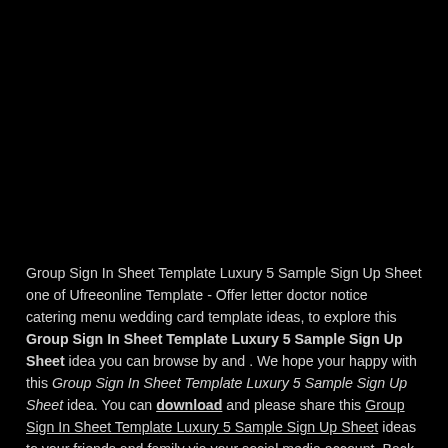[Figure (photo): Large black image area occupying the top portion of the page]
Group Sign In Sheet Template Luxury 5 Sample Sign Up Sheet one of Ufreeonline Template - Offer letter doctor notice catering menu wedding card template ideas, to explore this Group Sign In Sheet Template Luxury 5 Sample Sign Up Sheet idea you can browse by and . We hope your happy with this Group Sign In Sheet Template Luxury 5 Sample Sign Up Sheet idea. You can download and please share this Group Sign In Sheet Template Luxury 5 Sample Sign Up Sheet ideas to your friends and family via your social media account. Back to 50 Group Sign In Sheet Template.